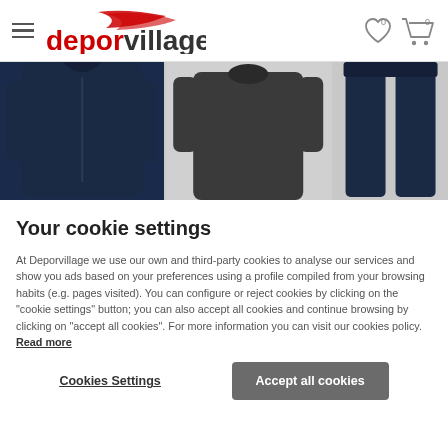deporvillage — navigation header with hamburger menu, logo, wishlist and cart icons
[Figure (photo): Product images strip showing three sports/outdoor garments: a navy blue long-sleeve jacket on left, a dark grey long-sleeve base layer top in center, and dark navy trousers on right]
Your cookie settings
At Deporvillage we use our own and third-party cookies to analyse our services and show you ads based on your preferences using a profile compiled from your browsing habits (e.g. pages visited). You can configure or reject cookies by clicking on the "cookie settings" button; you can also accept all cookies and continue browsing by clicking on "accept all cookies". For more information you can visit our cookies policy. Read more
Cookies Settings
Accept all cookies